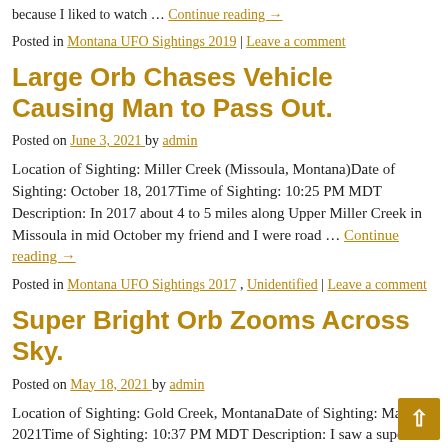because I liked to watch … Continue reading →
Posted in Montana UFO Sightings 2019 | Leave a comment
Large Orb Chases Vehicle Causing Man to Pass Out.
Posted on June 3, 2021 by admin
Location of Sighting: Miller Creek (Missoula, Montana)Date of Sighting: October 18, 2017Time of Sighting: 10:25 PM MDT Description: In 2017 about 4 to 5 miles along Upper Miller Creek in Missoula in mid October my friend and I were road … Continue reading →
Posted in Montana UFO Sightings 2017 , Unidentified | Leave a comment
Super Bright Orb Zooms Across Sky.
Posted on May 18, 2021 by admin
Location of Sighting: Gold Creek, MontanaDate of Sighting: May 14, 2021Time of Sighting: 10:37 PM MDT Description: I saw a super bright white orb zoom across the sky. It faded out because it went out of view behind the trees.